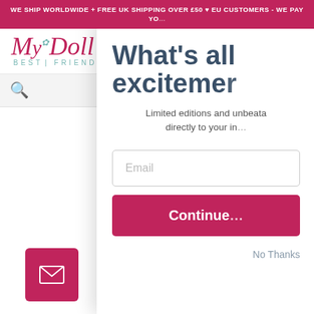WE SHIP WORLDWIDE + FREE UK SHIPPING OVER £50 ♥ EU CUSTOMERS - WE PAY YO...
[Figure (logo): My Doll Best Friend logo - cursive pink text with teal flower accent and 'BEST FRIEND' in teal small caps]
Search icon (magnifying glass)
What's all the excitement...
Limited editions and unbeatable deals directly to your in...
Email
Continue
No Thanks
[Figure (photo): Partial view of a doll or figure wearing dark clothing, bottom right of the left panel]
[Figure (illustration): Pink mail/envelope button icon in bottom left corner]